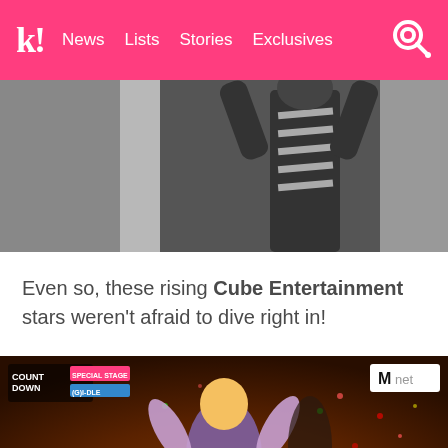k! News Lists Stories Exclusives
[Figure (photo): Person in black and white zebra-print outfit performing on stage, viewed from behind/side, blurred background]
Even so, these rising Cube Entertainment stars weren't afraid to dive right in!
[Figure (screenshot): Mnet M Countdown Special Stage (G)I-DLE video frame showing performer with blonde hair in purple outfit on stage with colorful lights and play button overlay]